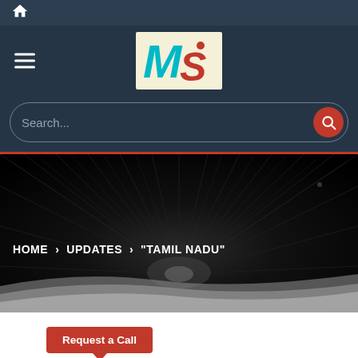[Figure (screenshot): Mobile website screenshot showing navigation header with home icon, hamburger menu, MS logo, search bar, breadcrumb navigation (HOME > UPDATES > TAMIL NADU) on dark hero background, Request a Call button, and Share bar at bottom]
Search...
HOME > UPDATES > "TAMIL NADU"
Request a Call
SHARE